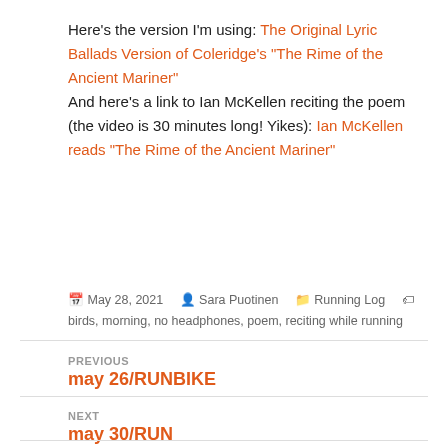Here's the version I'm using: The Original Lyric Ballads Version of Coleridge's "The Rime of the Ancient Mariner"
And here's a link to Ian McKellen reciting the poem (the video is 30 minutes long! Yikes): Ian McKellen reads "The Rime of the Ancient Mariner"
May 28, 2021  Sara Puotinen  Running Log  birds, morning, no headphones, poem, reciting while running
PREVIOUS
may 26/RUNBIKE
NEXT
may 30/RUN